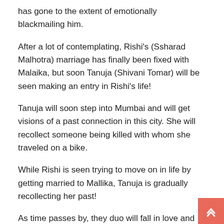has gone to the extent of emotionally blackmailing him.
After a lot of contemplating, Rishi's (Ssharad Malhotra) marriage has finally been fixed with Malaika, but soon Tanuja (Shivani Tomar) will be seen making an entry in Rishi's life!
Tanuja will soon step into Mumbai and will get visions of a past connection in this city. She will recollect someone being killed with whom she traveled on a bike.
While Rishi is seen trying to move on in life by getting married to Mallika, Tanuja is gradually recollecting her past!
As time passes by, they duo will fall in love and this will follow the cliched drama where the families will be against their decision to get married due to an extensive age gap between the two.
But as the story progresses, the viewers will see the story unfolding...